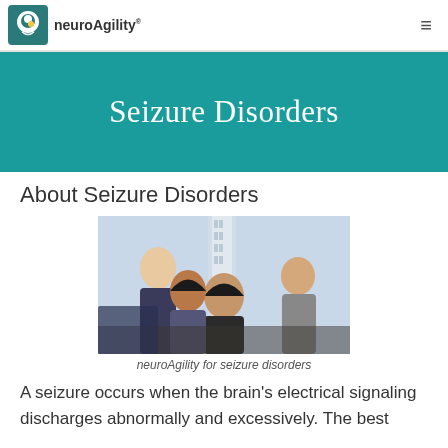neuroAgility
Seizure Disorders
About Seizure Disorders
[Figure (photo): Four people looking upward toward a tall spiraling glass building, viewed from below. Three men and one woman in a group shot against a bright sky.]
neuroAgility for seizure disorders
A seizure occurs when the brain's electrical signaling discharges abnormally and excessively. The best